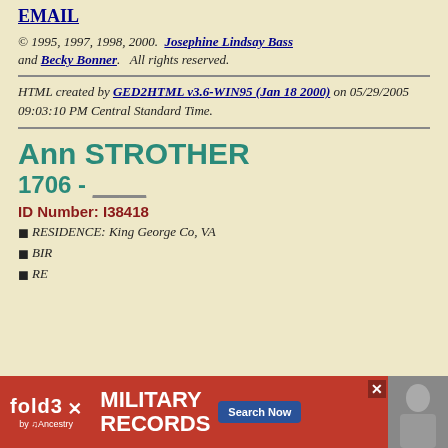EMAIL
© 1995, 1997, 1998, 2000.  Josephine Lindsay Bass and Becky Bonner.   All rights reserved.
HTML created by GED2HTML v3.6-WIN95 (Jan 18 2000) on 05/29/2005 09:03:10 PM Central Standard Time.
Ann STROTHER
1706 - ____
ID Number: I38418
RESIDENCE: King George Co, VA
BIR...
RE...
[Figure (other): fold3 by Ancestry advertisement banner - MILITARY RECORDS Search Now]